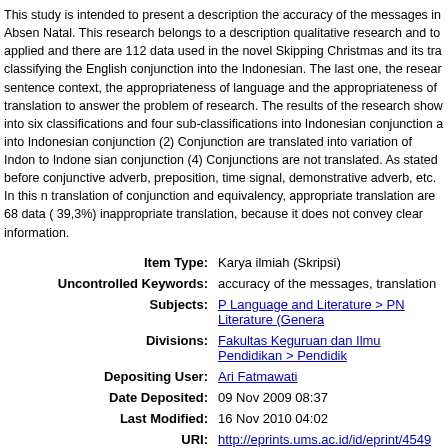This study is intended to present a description the accuracy of the messages in Absen Natal. This research belongs to a description qualitative research and to applied and there are 112 data used in the novel Skipping Christmas and its tra classifying the English conjunction into the Indonesian. The last one, the resear sentence context, the appropriateness of language and the appropriateness of translation to answer the problem of research. The results of the research show into six classifications and four sub-classifications into Indonesian conjunction a into Indonesian conjunction (2) Conjunction are translated into variation of Indon to Indone sian conjunction (4) Conjunctions are not translated. As stated before conjunctive adverb, preposition, time signal, demonstrative adverb, etc. In this n translation of conjunction and equivalency, appropriate translation are 68 data ( 39,3%) inappropriate translation, because it does not convey clear information.
| Label | Value |
| --- | --- |
| Item Type: | Karya ilmiah (Skripsi) |
| Uncontrolled Keywords: | accuracy of the messages, translation |
| Subjects: | P Language and Literature > PN Literature (Genera |
| Divisions: | Fakultas Keguruan dan Ilmu Pendidikan > Pendidik |
| Depositing User: | Ari Fatmawati |
| Date Deposited: | 09 Nov 2009 08:37 |
| Last Modified: | 16 Nov 2010 04:02 |
| URI: | http://eprints.ums.ac.id/id/eprint/4549 |
Actions (login required)
View Item